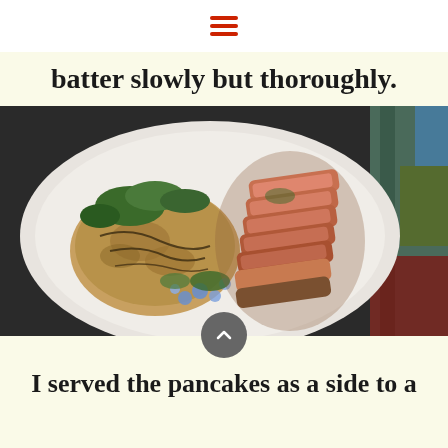≡ (hamburger menu icon)
batter slowly but thoroughly.
[Figure (photo): A plate with wild rice pancakes garnished with fresh herbs and blue borage flowers, alongside sliced medium-rare steak. The plate is white and round, set on a dark surface with colorful fabric napkins visible in the background.]
I served the pancakes as a side to a filet mignon.